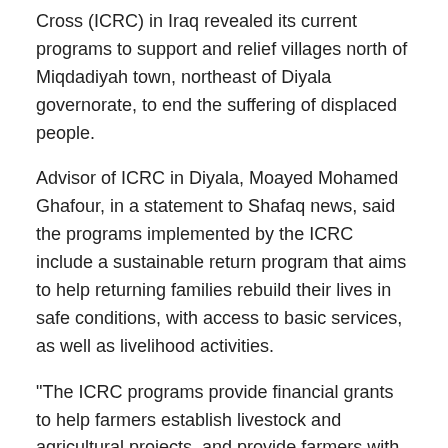Cross (ICRC) in Iraq revealed its current programs to support and relief villages north of Miqdadiyah town, northeast of Diyala governorate, to end the suffering of displaced people.
Advisor of ICRC in Diyala, Moayed Mohamed Ghafour, in a statement to Shafaq news, said the programs implemented by the ICRC include a sustainable return program that aims to help returning families rebuild their lives in safe conditions, with access to basic services, as well as livelihood activities.
"The ICRC programs provide financial grants to help farmers establish livestock and agricultural projects, and provide farmers with animals or agricultural equipment, to have a source of income to help them settle," Ghafour explained in his statement to Shafaq news.
According to Ghafour, the ICRC office in Diyala is currently working on assessment of the needs, in coordination with the authorities in